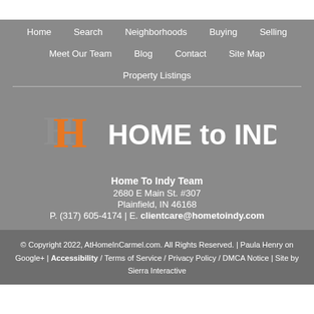Home | Search | Neighborhoods | Buying | Selling
Meet Our Team | Blog | Contact | Site Map
Property Listings
[Figure (logo): Home to Indy logo with orange H and white text]
Home To Indy Team
2680 E Main St. #307
Plainfield, IN 46168
P. (317) 605-4174 | E. clientcare@hometoindy.com
© Copyright 2022, AtHomeInCarmel.com. All Rights Reserved. | Paula Henry on Google+ | Accessibility / Terms of Service / Privacy Policy / DMCA Notice | Site by Sierra Interactive